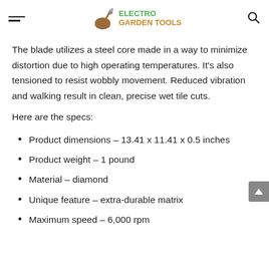ELECTRO GARDEN TOOLS
The blade utilizes a steel core made in a way to minimize distortion due to high operating temperatures. It’s also tensioned to resist wobbly movement. Reduced vibration and walking result in clean, precise wet tile cuts.
Here are the specs:
Product dimensions – 13.41 x 11.41 x 0.5 inches
Product weight – 1 pound
Material – diamond
Unique feature – extra-durable matrix
Maximum speed – 6,000 rpm